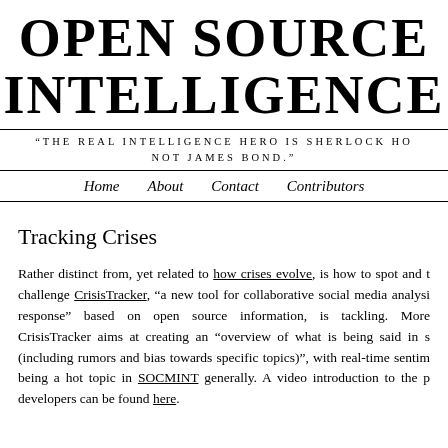OPEN SOURCE INTELLIGENCE
“THE REAL INTELLIGENCE HERO IS SHERLOCK HOLMES, NOT JAMES BOND.”
Home  About  Contact  Contributors
Tracking Crises
Rather distinct from, yet related to how crises evolve, is how to spot and track them—a challenge CrisisTracker, “a new tool for collaborative social media analysis for crisis response” based on open source information, is tackling. More specifically, CrisisTracker aims at creating an “overview of what is being said in social media (including rumors and bias towards specific topics)”, with real-time sentiment analysis being a hot topic in SOCMINT generally. A video introduction to the platform by its developers can be found here.